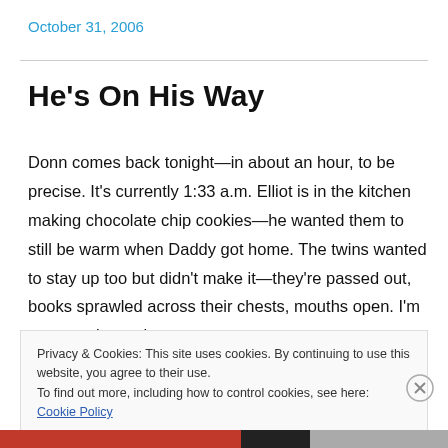October 31, 2006
He's On His Way
Donn comes back tonight—in about an hour, to be precise. It's currently 1:33 a.m. Elliot is in the kitchen making chocolate chip cookies—he wanted them to still be warm when Daddy got home. The twins wanted to stay up too but didn't make it—they're passed out, books sprawled across their chests, mouths open. I'm supposed to wake
Privacy & Cookies: This site uses cookies. By continuing to use this website, you agree to their use.
To find out more, including how to control cookies, see here: Cookie Policy
Close and accept